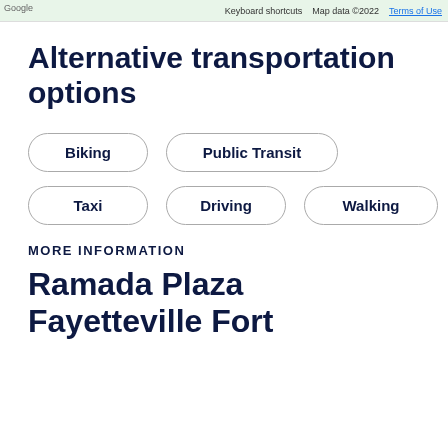[Figure (screenshot): Google Maps bar with keyboard shortcuts, map data copyright 2022, and Terms of Use links]
Alternative transportation options
Biking
Public Transit
Taxi
Driving
Walking
MORE INFORMATION
Ramada Plaza Fayetteville Fort